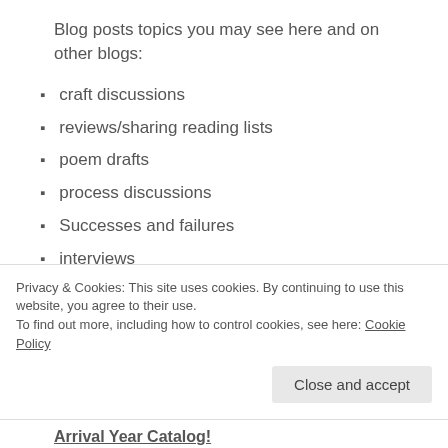Blog posts topics you may see here and on other blogs:
craft discussions
reviews/sharing reading lists
poem drafts
process discussions
Successes and failures
interviews
prompts
market news/suggestions
Privacy & Cookies: This site uses cookies. By continuing to use this website, you agree to their use.
To find out more, including how to control cookies, see here: Cookie Policy
Arrival Year Catalog!